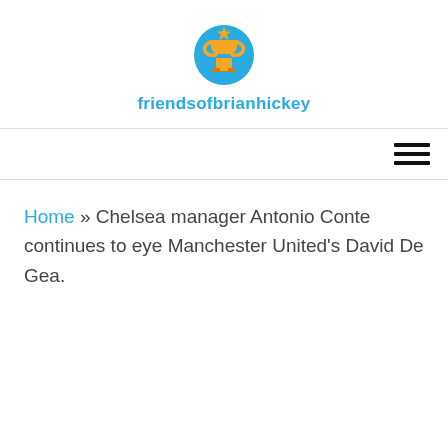friendsofbrianhickey
Home » Chelsea manager Antonio Conte continues to eye Manchester United's David De Gea.